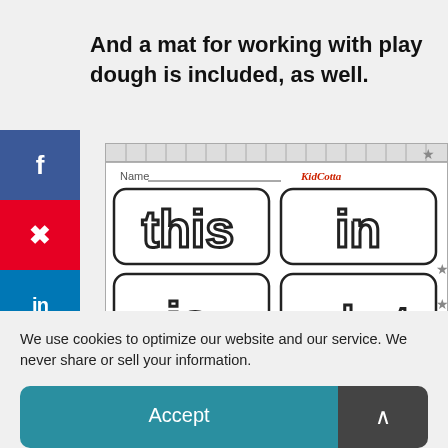And a mat for working with play dough is included, as well.
[Figure (illustration): A play dough mat worksheet showing outlined words 'this', 'in', 'is', 'what' in bubble letters for children to trace or fill. Has a name line at top and decorative star corner border.]
We use cookies to optimize our website and our service. We never share or sell your information.